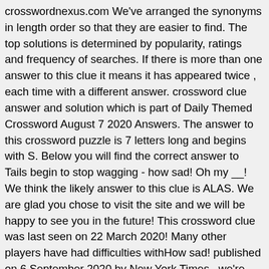crosswordnexus.com We've arranged the synonyms in length order so that they are easier to find. The top solutions is determined by popularity, ratings and frequency of searches. If there is more than one answer to this clue it means it has appeared twice , each time with a different answer. crossword clue answer and solution which is part of Daily Themed Crossword August 7 2020 Answers. The answer to this crossword puzzle is 7 letters long and begins with S. Below you will find the correct answer to Tails begin to stop wagging - how sad! Oh my __! We think the likely answer to this clue is ALAS. We are glad you chose to visit the site and we will be happy to see you in the future! This crossword clue was last seen on 22 March 2020! Many other players have had difficulties withHow sad! published on 6 September 2020 by New York Times , we're here to help you find the right word. The crossword clue Very sad with 6 letters was last seen on the November 12, 2020. crossword clue answers and solutions then you have come to the right place. ALAS. Please find below the answer. Refine the search results by specifying the...